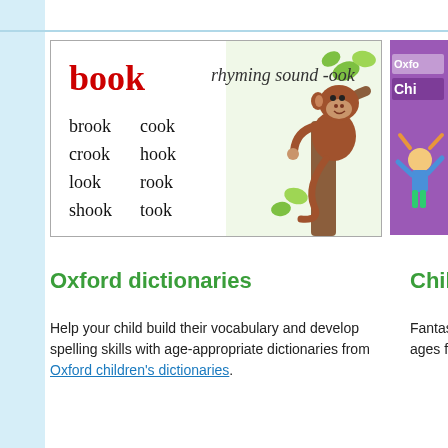[Figure (illustration): Children's rhyming dictionary book page spread showing the word 'book' with rhyming sound -ook, listing rhyming words: brook, cook, crook, hook, look, rook, shook, took, with an illustrated monkey in a tree on the right side of the box.]
[Figure (illustration): Partial view of Oxford Children's book cover with purple background and a cartoon girl character (Pippi Longstocking style), showing partial text 'Oxfo' and 'Chi'.]
Oxford dictionaries
Childre
Help your child build their vocabulary and develop spelling skills with age-appropriate dictionaries from Oxford children's dictionaries.
Fantastic fictio ages from Oxfo